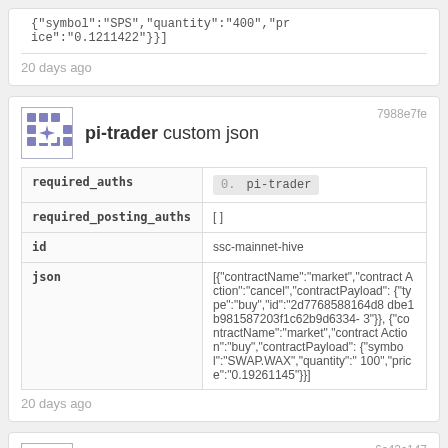{"symbol":"SPS","quantity":"400","price":"0.1211422"}}]
20 days ago
7988e7fe
pi-trader custom json
| field | value |
| --- | --- |
| required_auths | 0. pi-trader |
| required_posting_auths | [] |
| id | ssc-mainnet-hive |
| json | [{"contractName":"market","contractAction":"cancel","contractPayload":{"type":"buy","id":"2d7768588164d8dbe1b981587203f1c62b9d6334-3"}},{"contractName":"market","contractAction":"buy","contractPayload":{"symbol":"SWAP.WAX","quantity":"100","price":"0.19261145"}}] |
20 days ago
6c43c147
pi-trader custom json
| field | value |
| --- | --- |
| required_auths | 0. pi-trader |
| required_posting_auths | [] |